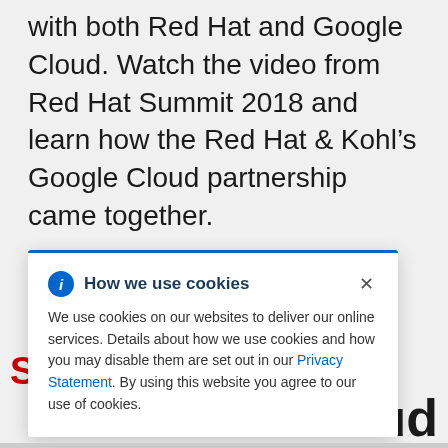with both Red Hat and Google Cloud. Watch the video from Red Hat Summit 2018 and learn how the Red Hat & Kohl’s Google Cloud partnership came together.
Watch video
S
Cloud
[Figure (screenshot): Cookie consent popup with blue top border, info icon, title 'How we use cookies', close X button, and body text about cookie usage with a Privacy Statement link.]